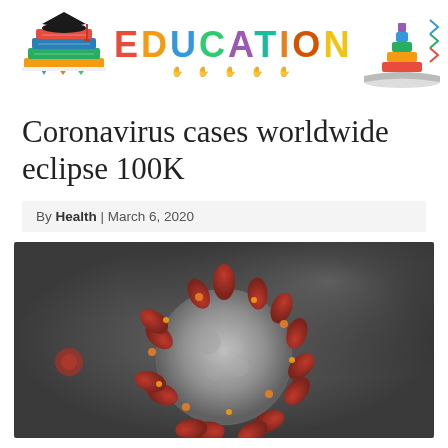EDUCATION
Coronavirus cases worldwide eclipse 100K
By Health | March 6, 2020
[Figure (photo): Close-up 3D render of a coronavirus particle with red spike proteins on a grey background]